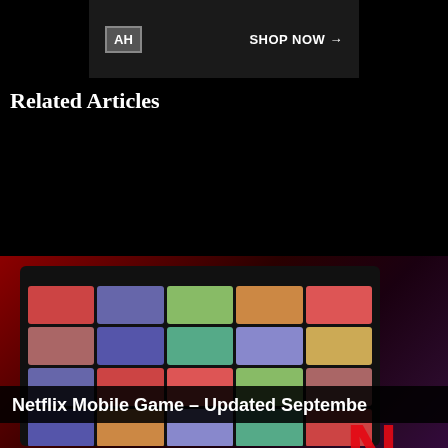[Figure (screenshot): AH tech deals banner ad with SHOP NOW button on dark background]
Related Articles
[Figure (screenshot): Netflix Mobile Games library screenshot showing various game thumbnails on dark red background with Netflix N logo]
[Figure (screenshot): Samsung Galaxy Buds 2 Pro review video overlay from Digital Trends showing GALAXY BUDS 2 PRO text with reviewer person]
Netflix Mobile Game – Updated Septembe